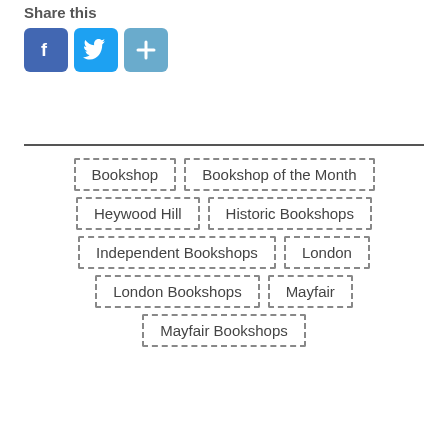Share this
[Figure (other): Social media sharing icons: Facebook (blue f), Twitter (blue bird), and a blue plus/share button]
Bookshop
Bookshop of the Month
Heywood Hill
Historic Bookshops
Independent Bookshops
London
London Bookshops
Mayfair
Mayfair Bookshops